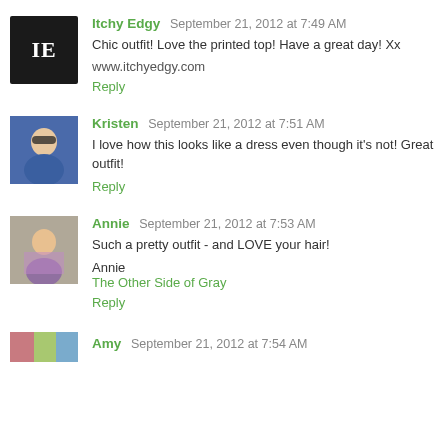[Figure (photo): Avatar logo for Itchy Edgy: black square with white letters IE]
Itchy Edgy  September 21, 2012 at 7:49 AM
Chic outfit! Love the printed top! Have a great day! Xx

www.itchyedgy.com

Reply
[Figure (photo): Avatar photo of Kristen: woman with sunglasses and blue top]
Kristen  September 21, 2012 at 7:51 AM
I love how this looks like a dress even though it's not! Great outfit!

Reply
[Figure (photo): Avatar photo of Annie: woman in striped top outdoors]
Annie  September 21, 2012 at 7:53 AM
Such a pretty outfit - and LOVE your hair!

Annie
The Other Side of Gray

Reply
[Figure (photo): Avatar photo of Amy: partial image]
Amy  September 21, 2012 at 7:54 AM